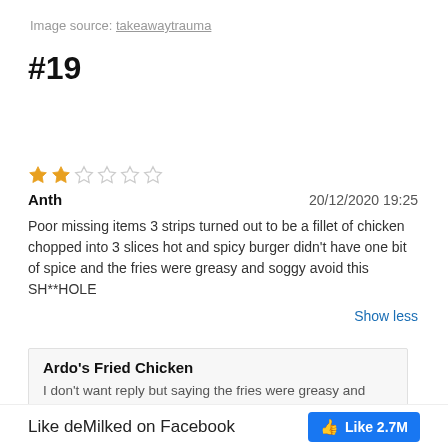Image source: takeawaytrauma
#19
[Figure (other): 2-star rating out of 5 stars shown as orange filled stars and empty outline stars]
Anth   20/12/2020 19:25
Poor missing items 3 strips turned out to be a fillet of chicken chopped into 3 slices hot and spicy burger didn't have one bit of spice and the fries were greasy and soggy avoid this SH**HOLE
Show less
Ardo's Fried Chicken
I don't want reply but saying the fries were greasy and soggy but u just rang saying the fries...
Like deMilked on Facebook   Like 2.7M